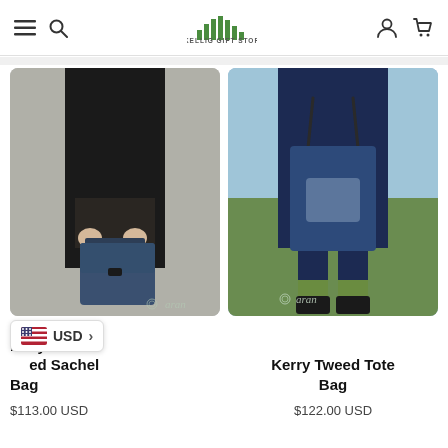Skellig Gift Store navigation header with hamburger menu, search, logo, account, and cart icons
[Figure (photo): Person wearing a black coat holding a navy Kerry Tweed satchel bag outdoors, with 'aran' watermark]
[Figure (photo): Person wearing a navy coat holding a large navy Kerry Tweed Tote Bag outdoors with green socks and black boots, with 'aran' watermark]
Navy Tweed Sachel Bag
Kerry Tweed Tote Bag
$113.00 USD
$122.00 USD